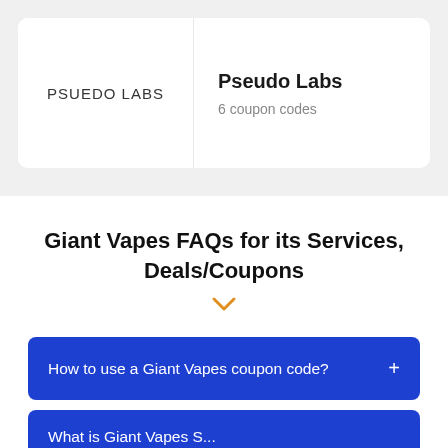[Figure (logo): Pseudo Labs logo — white rectangle with text PSUEDO LABS in uppercase letters]
Pseudo Labs
6 coupon codes
Giant Vapes FAQs for its Services, Deals/Coupons
How to use a Giant Vapes coupon code?  +
What is Giant Vapes S...